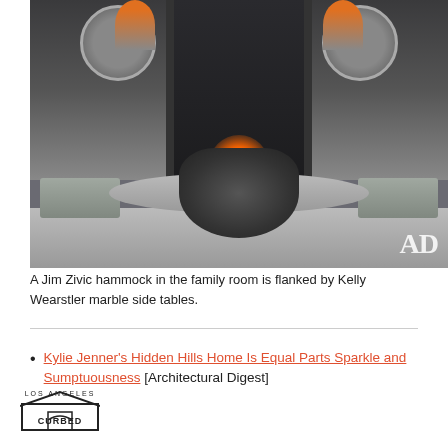[Figure (photo): Interior room photo showing a Jim Zivic hammock in a family room flanked by Kelly Wearstler marble side tables, with a lit fireplace in the background, round mirrors on the wall, and a fur throw draped over the hammock. AD logo visible in lower right corner.]
A Jim Zivic hammock in the family room is flanked by Kelly Wearstler marble side tables.
Kylie Jenner's Hidden Hills Home Is Equal Parts Sparkle and Sumptuousness [Architectural Digest]